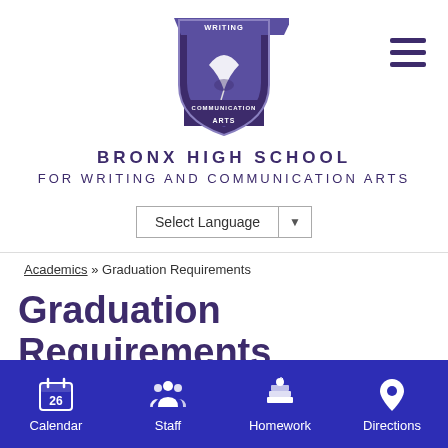[Figure (logo): Bronx High School for Writing and Communication Arts shield logo with quill pen and banner]
BRONX HIGH SCHOOL FOR WRITING AND COMMUNICATION ARTS
Select Language
Academics » Graduation Requirements
Graduation Requirements
Calendar | Staff | Homework | Directions